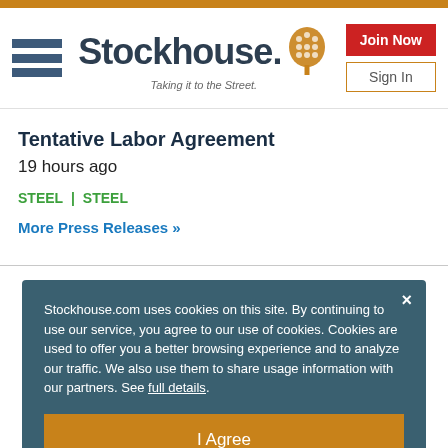[Figure (logo): Stockhouse logo with hamburger menu, wordmark 'Stockhouse.' with bull icon, tagline 'Taking it to the Street.', and Join Now / Sign In buttons]
Tentative Labor Agreement
19 hours ago
STEEL | STEEL
More Press Releases »
Stockhouse.com uses cookies on this site. By continuing to use our service, you agree to our use of cookies. Cookies are used to offer you a better browsing experience and to analyze our traffic. We also use them to share usage information with our partners. See full details.
I Agree